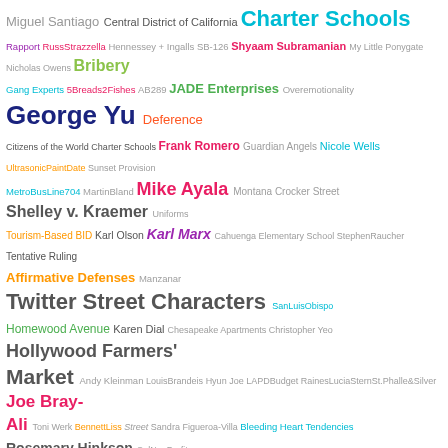[Figure (infographic): A word cloud featuring legal and civic terms, names, and organizations related to Los Angeles civic affairs, BIDs, and legal cases. Terms vary in size, font weight, and color. Largest terms include 'Charter Schools', 'George Yu', 'Twitter Street Characters', 'South Park BID', 'Drinking in Public', 'Lorena Parker', etc.]